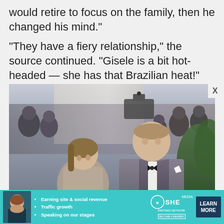would retire to focus on the family, then he changed his mind."
"They have a fiery relationship," the source continued. "Gisele is a bit hot-headed — she has that Brazilian heat!"
[Figure (photo): A couple dressed in formal attire at what appears to be a red carpet event, surrounded by photographers and press cameras. The man is wearing a grey suit with a dark lapel and black bow tie; the woman is in a grey/silver dress with her hair pulled back, smiling.]
[Figure (infographic): Advertisement banner for SHE Partner Network. Teal background with a woman's avatar on the left, three bullet points reading: Earning site & social revenue, Traffic growth, Speaking on our stages. SHE logo in the center, and a dark blue LEARN MORE button on the right.]